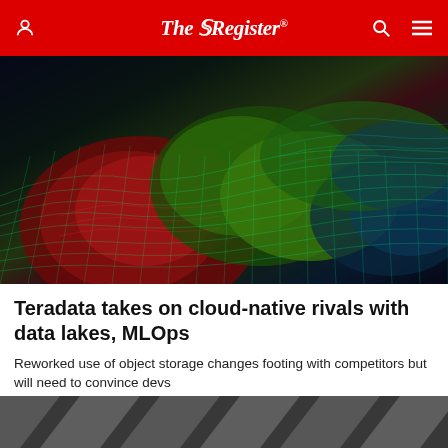The Register
[Figure (illustration): Abstract colorful 3D wireframe mesh landscape with hills/mountains in green, yellow, red, and blue/teal tones against a dark background]
Teradata takes on cloud-native rivals with data lakes, MLOps
Reworked use of object storage changes footing with competitors but will need to convince devs
DATABASES   6 hrs |  💬